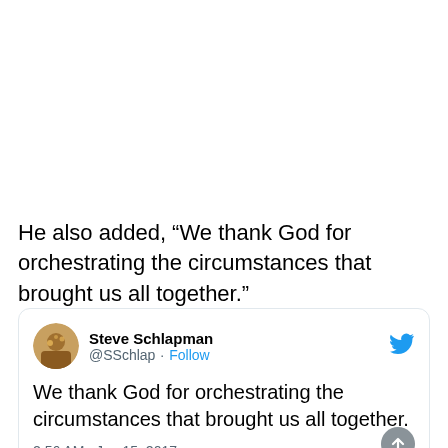He also added, “We thank God for orchestrating the circumstances that brought us all together.”
[Figure (screenshot): Embedded tweet from Steve Schlapman (@SSchlap) with text: 'We thank God for orchestrating the circumstances that brought us all together.' Timestamp: 2:56 AM · Jan 15, 2017]